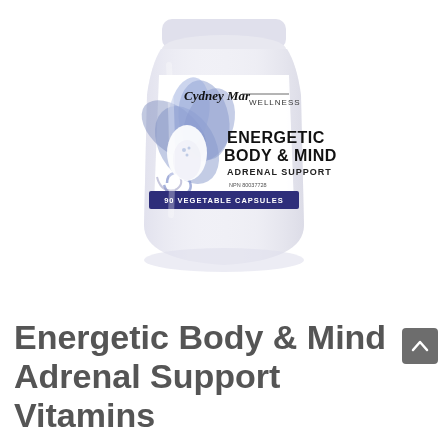[Figure (photo): White supplement bottle with blue lotus flower design, branded 'Cydney Mar WELLNESS', labeled 'ENERGETIC BODY & MIND ADRENAL SUPPORT', NPN 80037728, 90 VEGETABLE CAPSULES on a dark blue band.]
Energetic Body & Mind Adrenal Support Vitamins